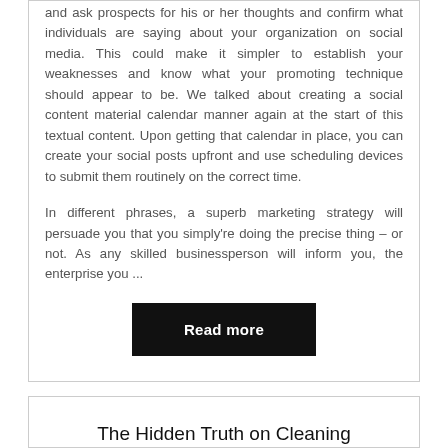and ask prospects for his or her thoughts and confirm what individuals are saying about your organization on social media. This could make it simpler to establish your weaknesses and know what your promoting technique should appear to be. We talked about creating a social content material calendar manner again at the start of this textual content. Upon getting that calendar in place, you can create your social posts upfront and use scheduling devices to submit them routinely on the correct time.
In different phrases, a superb marketing strategy will persuade you that you simply're doing the precise thing – or not. As any skilled businessperson will inform you, the enterprise you ...
Read more
The Hidden Truth on Cleaning